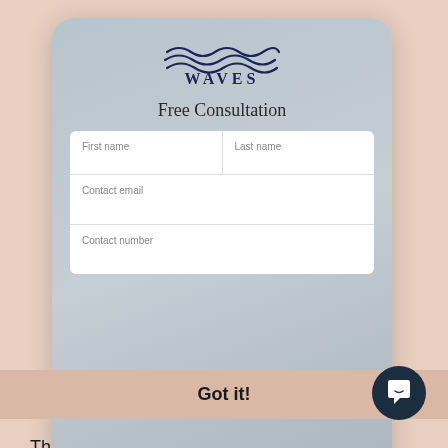[Figure (illustration): Waves logo - three wavy lines in dark navy above the text WAVES]
Free Consultation
[Figure (screenshot): A web form with fields: First name, Last name, Contact email, Contact number]
Got it!
This website uses cookies to ensure you get the best experience on our website.
Learn more
[Figure (illustration): Chat/messenger icon - white speech bubble with smile on dark navy circle]